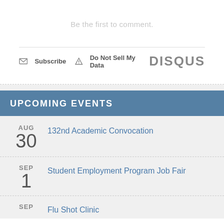Be the first to comment.
Subscribe  Do Not Sell My Data  DISQUS
UPCOMING EVENTS
AUG 30 - 132nd Academic Convocation
SEP 1 - Student Employment Program Job Fair
SEP - Flu Shot Clinic